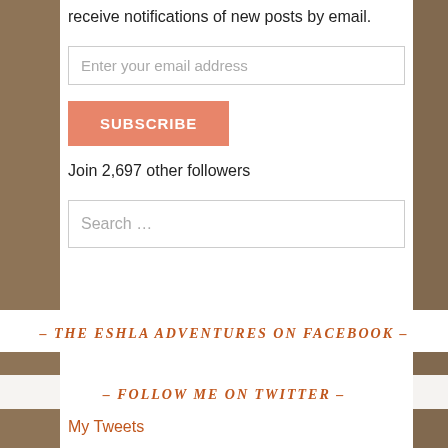receive notifications of new posts by email.
Enter your email address
SUBSCRIBE
Join 2,697 other followers
Search …
- THE ESHLA ADVENTURES ON FACEBOOK -
- FOLLOW ME ON TWITTER -
My Tweets